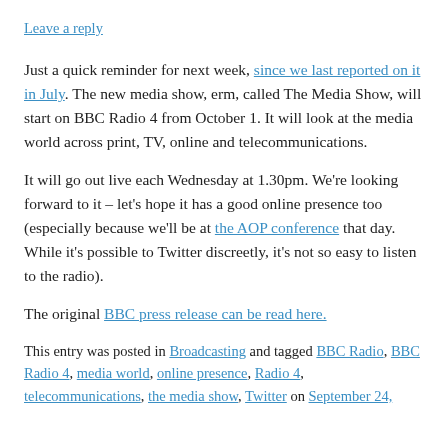Leave a reply
Just a quick reminder for next week, since we last reported on it in July. The new media show, erm, called The Media Show, will start on BBC Radio 4 from October 1. It will look at the media world across print, TV, online and telecommunications.
It will go out live each Wednesday at 1.30pm. We're looking forward to it – let's hope it has a good online presence too (especially because we'll be at the AOP conference that day. While it's possible to Twitter discreetly, it's not so easy to listen to the radio).
The original BBC press release can be read here.
This entry was posted in Broadcasting and tagged BBC Radio, BBC Radio 4, media world, online presence, Radio 4, telecommunications, the media show, Twitter on September 24,